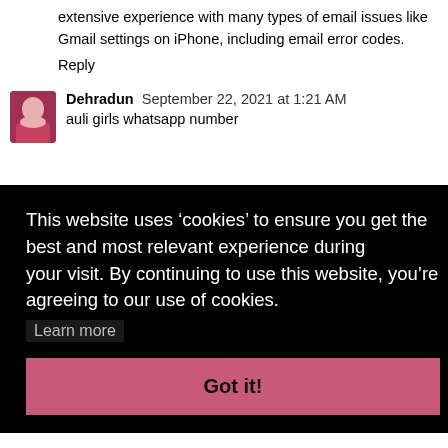extensive experience with many types of email issues like Gmail settings on iPhone, including email error codes.
Reply
Dehradun  September 22, 2021 at 1:21 AM
auli girls whatsapp number
This website uses ‘cookies’ to ensure you get the best and most relevant experience during your visit. By continuing to use this website, you’re agreeing to our use of cookies.
Learn more
Got it!